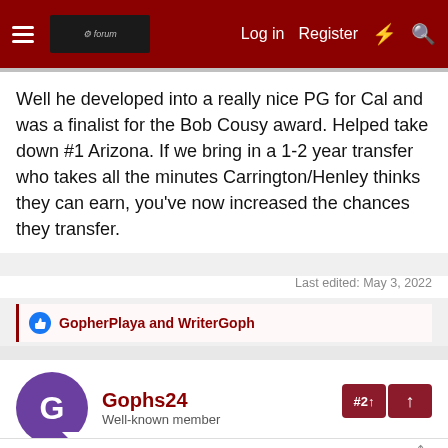Log in  Register
Well he developed into a really nice PG for Cal and was a finalist for the Bob Cousy award. Helped take down #1 Arizona. If we bring in a 1-2 year transfer who takes all the minutes Carrington/Henley thinks they can earn, you've now increased the chances they transfer.
Last edited: May 3, 2022
GopherPlaya and WriterGoph
Gophs24
Well-known member
May 3, 2022
WriterGoph said: ⊕
If we don't get another transfer shooter, it seems to me that Ben must